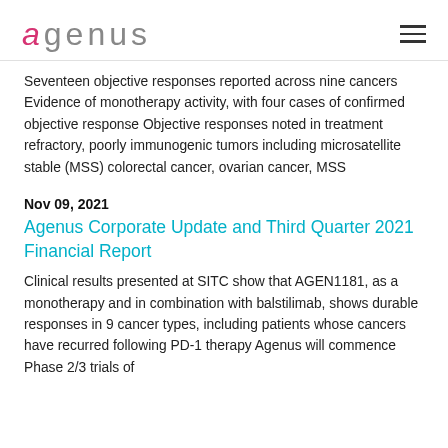agenus
Seventeen objective responses reported across nine cancers Evidence of monotherapy activity, with four cases of confirmed objective response Objective responses noted in treatment refractory, poorly immunogenic tumors including microsatellite stable (MSS) colorectal cancer, ovarian cancer, MSS
Nov 09, 2021
Agenus Corporate Update and Third Quarter 2021 Financial Report
Clinical results presented at SITC show that AGEN1181, as a monotherapy and in combination with balstilimab, shows durable responses in 9 cancer types, including patients whose cancers have recurred following PD-1 therapy Agenus will commence Phase 2/3 trials of